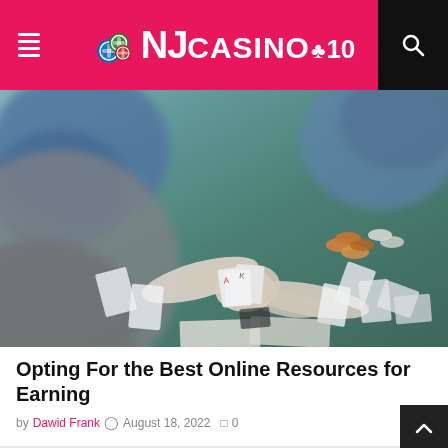NJ CASINO 10
[Figure (photo): Casino table scene showing players' hands holding and examining playing cards on a green felt table, with poker chips and cards scattered around. Shot from above/side angle in muted, slightly blurred style.]
Opting For the Best Online Resources for Earning
by Dawid Frank  August 18, 2022   0